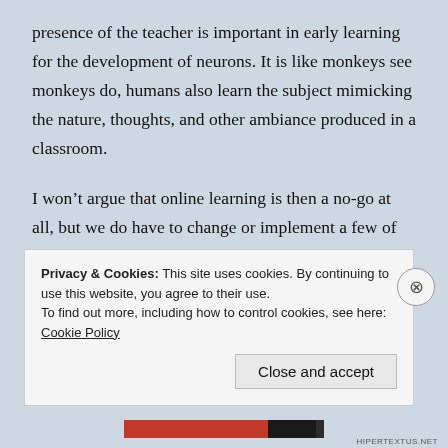presence of the teacher is important in early learning for the development of neurons. It is like monkeys see monkeys do, humans also learn the subject mimicking the nature, thoughts, and other ambiance produced in a classroom.
I won't argue that online learning is then a no-go at all, but we do have to change or implement a few of the things which we use to do in classroom teaching.
To list a few would be:
Privacy & Cookies: This site uses cookies. By continuing to use this website, you agree to their use.
To find out more, including how to control cookies, see here: Cookie Policy